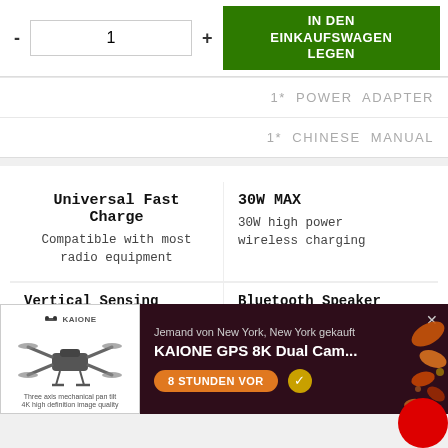- 1 +
IN DEN EINKAUFSWAGEN LEGEN
1* POWER ADAPTER
1* CHINESE MANUAL
| Feature | Value |
| --- | --- |
| Universal Fast Charge | 30W MAX |
| Compatible with most radio equipment | 30W high power wireless charging |
| Vertical Sensing Distance | Bluetooth Speaker |
[Figure (screenshot): Popup notification showing a drone product purchase: 'Jemand von New York, New York gekauft KAIONE GPS 8K Dual Cam...' with a drone thumbnail image, orange '8 STUNDEN VOR' button, and autumn leaves decoration on dark background]
range up to 10m
Double NarEB internal magnetic horn